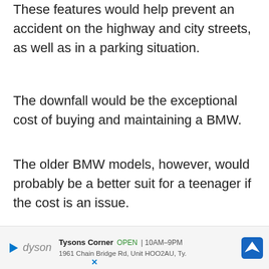These features would help prevent an accident on the highway and city streets, as well as in a parking situation.
The downfall would be the exceptional cost of buying and maintaining a BMW.
The older BMW models, however, would probably be a better suit for a teenager if the cost is an issue.
They can be bought for a relatively low price, and cost less to maintain.
[Figure (other): Advertisement banner for Dyson Tysons Corner store showing store name, open hours 10AM-9PM, address 1961 Chain Bridge Rd, Unit HOO2AU, Ty., with navigation icon and play/close controls.]